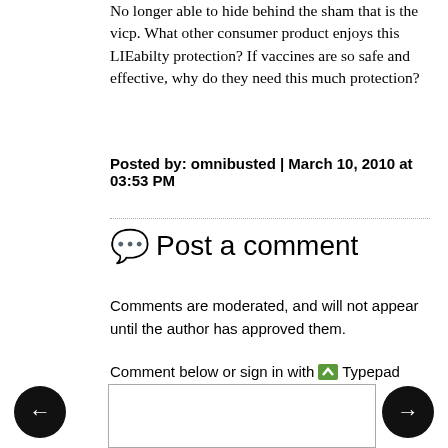No longer able to hide behind the sham that is the vicp. What other consumer product enjoys this LIEabilty protection? If vaccines are so safe and effective, why do they need this much protection?
Posted by: omnibusted | March 10, 2010 at 03:53 PM
Post a comment
Comments are moderated, and will not appear until the author has approved them.
Comment below or sign in with Typepad Facebook Twitter and more...